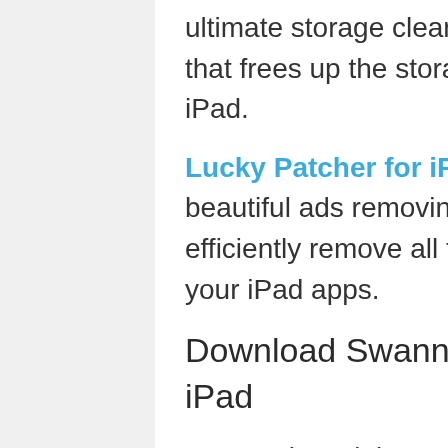ultimate storage cleaner app for the iPad that frees up the storage space on the iPad.
Lucky Patcher for iPad is one of the beautiful ads removing apps that will efficiently remove all the unwanted ads in your iPad apps.
Download SwannView Link for iPad
SwannView Link app iPad is compatible with the iOS version of 6.0 and later.
Click here to Download SwannView Link App for iPad